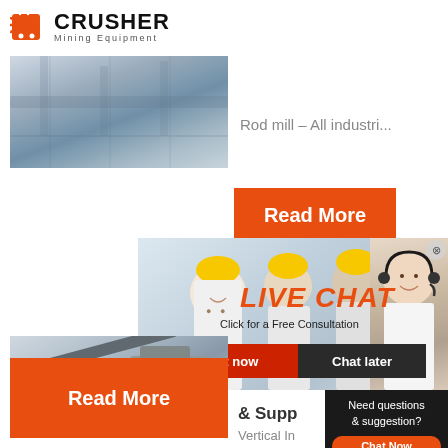[Figure (logo): Crusher Mining Equipment logo with red shopping bag icon and bold CRUSHER text]
[Figure (photo): Industrial machinery / mining equipment photo at top left]
Rod mill – All industri...
[Figure (infographic): Orange Read More button]
[Figure (infographic): Dark red 24Hrs Online banner]
[Figure (photo): Bottom left mining/quarry equipment photo]
[Figure (infographic): Live Chat popup with workers photo, LIVE CHAT heading, Click for a Free Consultation text, Chat now and Chat later buttons, and customer service person photo]
& Supp
Vertical In
[Figure (infographic): Orange Read More button at bottom left]
[Figure (infographic): Right sidebar with Need questions & suggestion? Chat Now button, Enquiry section, and limingjlmofen@sina.com email]